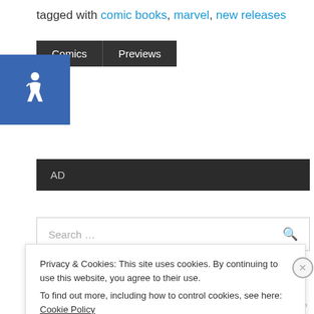tagged with comic books, marvel, new releases
Comics   Previews
[Figure (other): Blue accessibility wheelchair icon badge]
AD
Search ...
Privacy & Cookies: This site uses cookies. By continuing to use this website, you agree to their use.
To find out more, including how to control cookies, see here: Cookie Policy